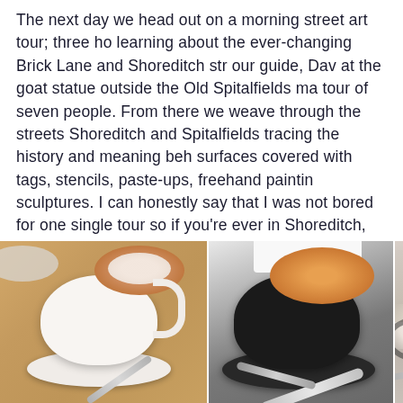The next day we head out on a morning street art tour; three ho learning about the ever-changing Brick Lane and Shoreditch str our guide, Dav at the goat statue outside the Old Spitalfields ma tour of seven people. From there we weave through the streets Shoreditch and Spitalfields tracing the history and meaning beh surfaces covered with tags, stencils, paste-ups, freehand paintin sculptures. I can honestly say that I was not bored for one single tour so if you're ever in Shoreditch, give it a go. I enthusiastically
[Figure (photo): Three side-by-side photos of coffee drinks. Left: a flat white or latte in a white ceramic cup on a white saucer on a wooden table, with a spoon visible. Middle: a latte with detailed latte art (leaf/heart pattern) in a black cup on a black saucer on a dark grey surface, with a spoon on the saucer and white card/paper visible at top. Right: a partial view of another coffee drink, mostly cropped.]